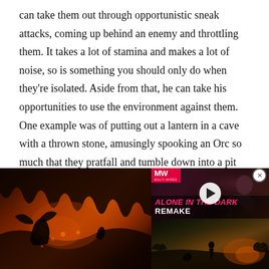can take them out through opportunistic sneak attacks, coming up behind an enemy and throttling them. It takes a lot of stamina and makes a lot of noise, so is something you should only do when they're isolated. Aside from that, he can take his opportunities to use the environment against them. One example was of putting out a lantern in a cave with a thrown stone, amusingly spooking an Orc so much that they pratfall and tumble down into a pit where Shelob awaits.
[Figure (screenshot): Dark cave scene with fiery orange and red lighting, showing cave creatures or environment from a fantasy game]
[Figure (screenshot): Video thumbnail with MW (MilliWatts/MulltiWire) logo badge, play button overlay, and text 'ALONE IN THE DARK REMAKE' with a person screaming in background]
[Figure (screenshot): Dark outdoor scene with orange fire glow and silhouetted figures in a field, fantasy game environment]